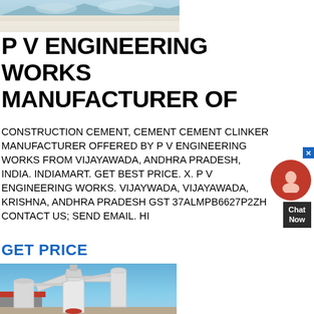[Figure (photo): Top photo showing a quarry or construction site with white/light colored ground and mountains in background]
P V ENGINEERING WORKS
MANUFACTURER OF
CONSTRUCTION CEMENT, CEMENT CEMENT CLINKER MANUFACTURER OFFERED BY P V ENGINEERING WORKS FROM VIJAYAWADA, ANDHRA PRADESH, INDIA. INDIAMART. GET BEST PRICE. X. P V ENGINEERING WORKS. VIJAYWADA, VIJAYAWADA, KRISHNA, ANDHRA PRADESH GST 37ALMPB6627P2ZH CONTACT US; SEND EMAIL. HI
GET PRICE
[Figure (photo): Industrial grinding mill machine (cement clinker grinder) with pipes and hoppers, set against blue sky and red building]